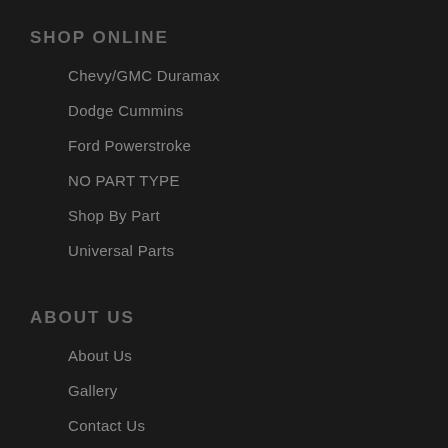SHOP ONLINE
Chevy/GMC Duramax
Dodge Cummins
Ford Powerstroke
NO PART TYPE
Shop By Part
Universal Parts
ABOUT US
About Us
Gallery
Contact Us
FAQ